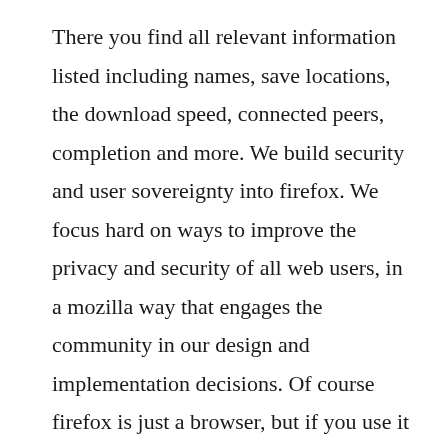There you find all relevant information listed including names, save locations, the download speed, connected peers, completion and more. We build security and user sovereignty into firefox. We focus hard on ways to improve the privacy and security of all web users, in a mozilla way that engages the community in our design and implementation decisions. Of course firefox is just a browser, but if you use it the right way, your daily bit of torrent will get a lot. Mozilla cofounder brendan eichs startup, brave, launches. Actually, mozilla